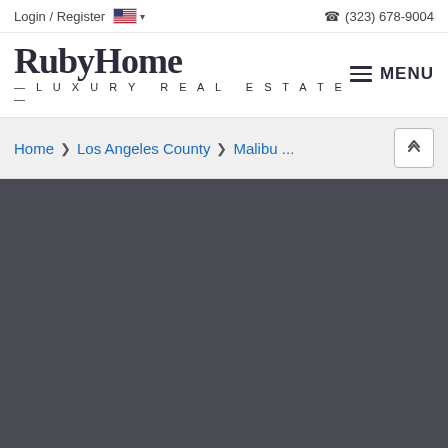Login / Register  (323) 678-9004
RubyHome — Luxury Real Estate — MENU
Home > Los Angeles County > Malibu ...
[Figure (screenshot): Dark gray area representing a map or content loading area below the breadcrumb navigation]